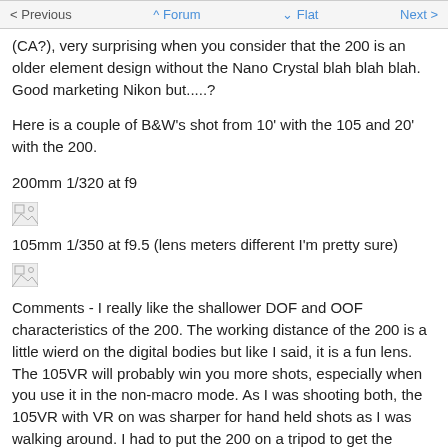< Previous   ^ Forum   v Flat   Next >
(CA?), very surprising when you consider that the 200 is an older element design without the Nano Crystal blah blah blah. Good marketing Nikon but.....?
Here is a couple of B&W's shot from 10' with the 105 and 20' with the 200.
200mm 1/320 at f9
[Figure (photo): Broken/missing image placeholder]
105mm 1/350 at f9.5 (lens meters different I'm pretty sure)
[Figure (photo): Broken/missing image placeholder]
Comments - I really like the shallower DOF and OOF characteristics of the 200. The working distance of the 200 is a little wierd on the digital bodies but like I said, it is a fun lens. The 105VR will probably win you more shots, especially when you use it in the non-macro mode. As I was shooting both, the 105VR with VR on was sharper for hand held shots as I was walking around. I had to put the 200 on a tripod to get the